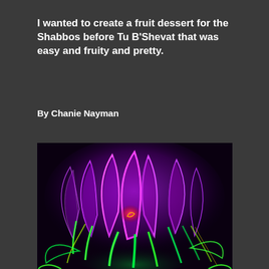I wanted to create a fruit dessert for the Shabbos before Tu B'Shevat that was easy and fruity and pretty.
By Chanie Nayman
[Figure (illustration): Neon glowing crocus/saffron flowers illustration on dark background, with vibrant purple petals, green stems, and a glowing pink/red center, neon light effect style artwork]